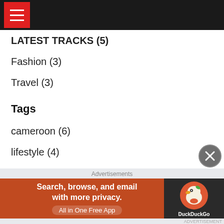[Figure (screenshot): Dark top navigation bar with red hamburger menu button]
LATEST TRACKS (5)
Fashion (3)
Travel (3)
Tags
cameroon (6)
lifestyle (4)
Fashion (3)
Travel (3)
AFCON 2021 (2)
Year
2022 (21)
Advertisements
[Figure (screenshot): DuckDuckGo advertisement banner: Search, browse, and email with more privacy. All in One Free App.]